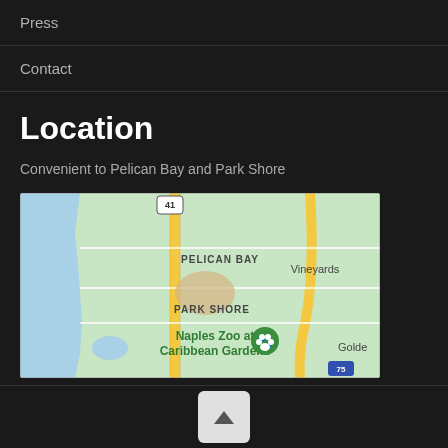Press
Contact
Location
Convenient to Pelican Bay and Park Shore
[Figure (map): Google Maps screenshot showing Pelican Bay, Park Shore, Naples Zoo at Caribbean Gardens, Vineyards, and Golden Gate area with Interstate 75 visible. Yellow road (US-41) runs vertically through the map.]